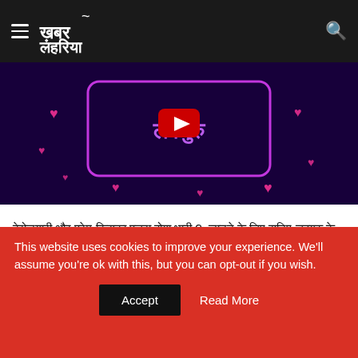Khabar Lahariya – Navigation header with logo and search icon
[Figure (screenshot): Video thumbnail showing neon-style Hindi text 'Lavguru' with pink hearts on dark purple background, with YouTube play button overlay]
बेरोज़गारी और प्रेम किसका पलरा होगा भारी ?  जानने के लिए सुनिए लवगुरु के साथ हमारे इस एपिसोड में,...
ये भी देखें :
This website uses cookies to improve your experience. We'll assume you're ok with this, but you can opt-out if you wish.
Accept
Read More